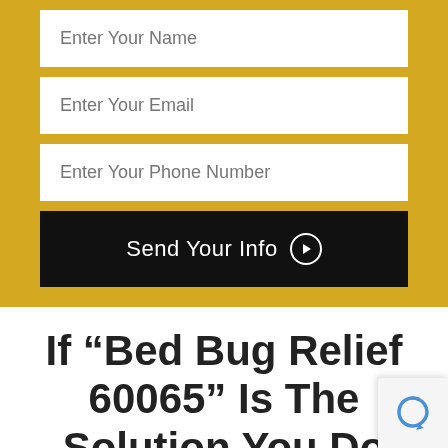[Figure (screenshot): Web form with gold background containing three input fields (Enter Your Name, Enter Your Email, Enter Your Phone Number) and a black Send Your Info button with a play icon]
If “Bed Bug Relief 60065” Is The Solution You Do Require, You’ve Found It
We’ve been rendering the finest Bed Bug Reliefs within 60065, Illinois, for years and making our customers